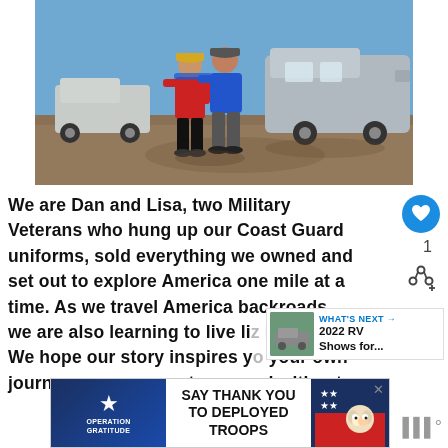[Figure (photo): Two people (man and woman) standing in front of a large RV/motorhome and a Jeep on a gravel lot with clear blue sky. Woman wears red top and black pants, man wears blue shirt and grey pants.]
We are Dan and Lisa, two Military Veterans who hung up our Coast Guard uniforms, sold everything we owned and set out to explore America one mile at a time. As we travel America backroads, we are also learning to live like intention. We hope our story inspires your own journey on your own terms and without
[Figure (infographic): WHAT'S NEXT → thumbnail with caption: 2022 RV Shows for...]
[Figure (infographic): Operation Gratitude advertisement banner: SAY THANK YOU TO DEPLOYED TROOPS]